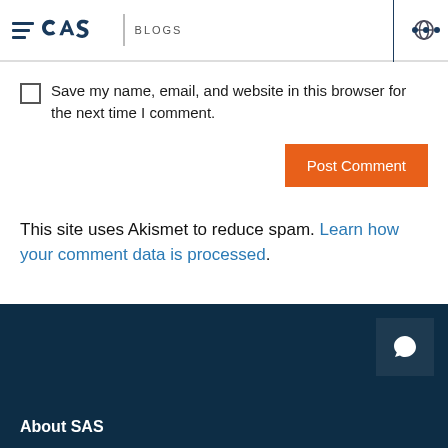SAS BLOGS
Save my name, email, and website in this browser for the next time I comment.
Post Comment
This site uses Akismet to reduce spam. Learn how your comment data is processed.
About SAS